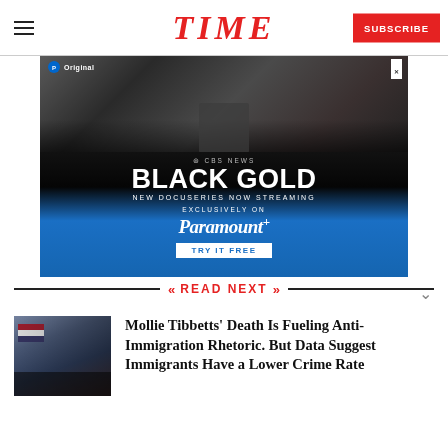TIME
[Figure (illustration): Advertisement for CBS News 'Black Gold' new docuseries now streaming exclusively on Paramount+]
READ NEXT
[Figure (photo): Thumbnail photo of a political rally with American flag visible]
Mollie Tibbetts' Death Is Fueling Anti-Immigration Rhetoric. But Data Suggest Immigrants Have a Lower Crime Rate